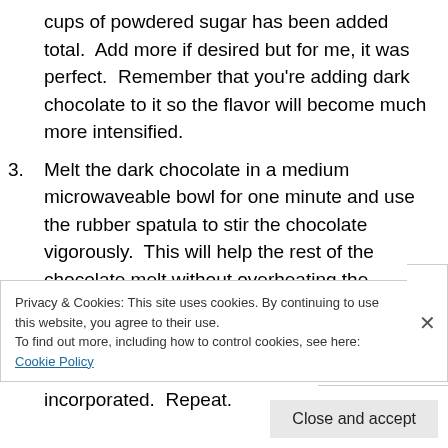cups of powdered sugar has been added total.  Add more if desired but for me, it was perfect.  Remember that you're adding dark chocolate to it so the flavor will become much more intensified.
3. Melt the dark chocolate in a medium microwaveable bowl for one minute and use the rubber spatula to stir the chocolate vigorously.  This will help the rest of the chocolate melt without overheating the chocolate.
4. Pour half of the chocolate into the mixing bowl and beat on medium with the hand mixer until incorporated.  Repeat.
Privacy & Cookies: This site uses cookies. By continuing to use this website, you agree to their use.
To find out more, including how to control cookies, see here: Cookie Policy